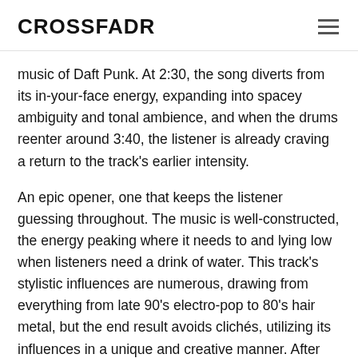CROSSFADR
music of Daft Punk. At 2:30, the song diverts from its in-your-face energy, expanding into spacey ambiguity and tonal ambience, and when the drums reenter around 3:40, the listener is already craving a return to the track’s earlier intensity.
An epic opener, one that keeps the listener guessing throughout. The music is well-constructed, the energy peaking where it needs to and lying low when listeners need a drink of water. This track’s stylistic influences are numerous, drawing from everything from late 90’s electro-pop to 80’s hair metal, but the end result avoids clichés, utilizing its influences in a unique and creative manner. After listening, I was reasonably impressed and wanted to hear more, however, I found myself wondering if this was all there was to HOAXX as an